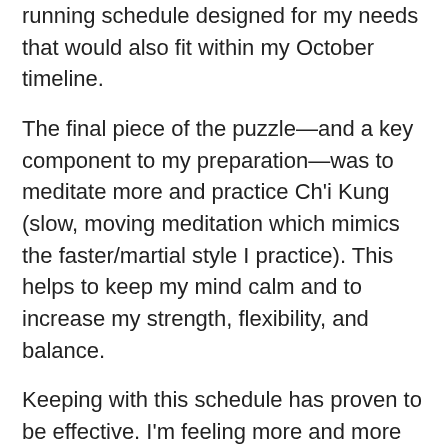running schedule designed for my needs that would also fit within my October timeline.
The final piece of the puzzle—and a key component to my preparation—was to meditate more and practice Ch'i Kung (slow, moving meditation which mimics the faster/martial style I practice). This helps to keep my mind calm and to increase my strength, flexibility, and balance.
Keeping with this schedule has proven to be effective. I'm feeling more and more confident about the upcoming test. I'll admit, it is very easy to stray from each component – and at the same time, very difficult to return to them at the same level as when I stopped. But I am aiming to stay consistent so I will be best equipped to reach my goal.
If there's any advice I can pass on from my experience in a different type of training, it's this: